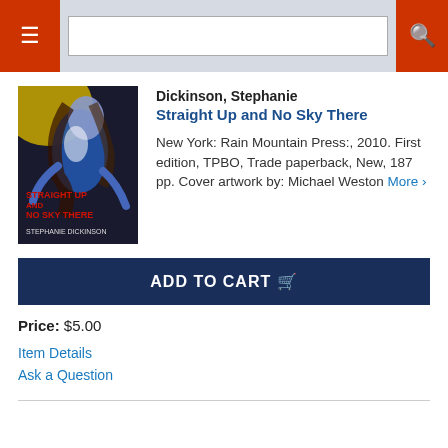Navigation bar with menu and search
[Figure (photo): Book cover of 'Straight Up and No Sky There' by Stephanie Dickinson, showing a stylized figure in blue tones with red title text]
Dickinson, Stephanie
Straight Up and No Sky There
New York: Rain Mountain Press:, 2010. First edition, TPBO, Trade paperback, New, 187 pp. Cover artwork by: Michael Weston More >
ADD TO CART
Price: $5.00
Item Details
Ask a Question